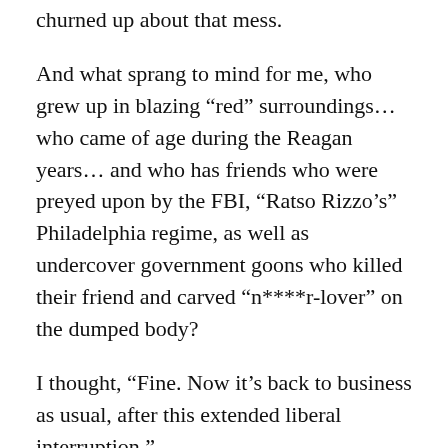churned up about that mess.
And what sprang to mind for me, who grew up in blazing “red” surroundings… who came of age during the Reagan years… and who has friends who were preyed upon by the FBI, “Ratso Rizzo’s” Philadelphia regime, as well as undercover government goons who killed their friend and carved “n****r-lover” on the dumped body?
I thought, “Fine. Now it’s back to business as usual, after this extended liberal interruption.”
It’s not so much that I downplayed the risks. I’ve known he was trouble for quite some time,